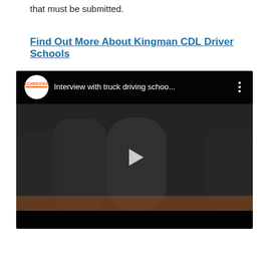that must be submitted.
Find Out More About Kingman CDL Driver Schools
[Figure (screenshot): YouTube video embed showing a Schneider-branded video titled 'Interview with truck driving schoo...' with three people seated at a table in a dark room, with a play button in the center.]